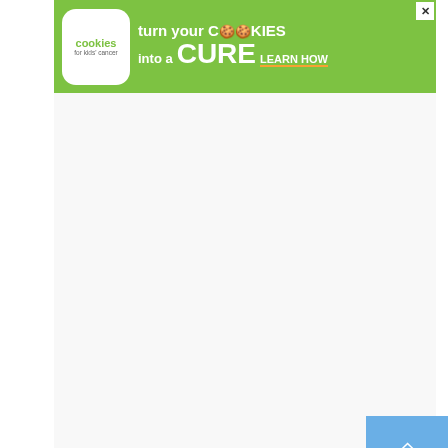[Figure (infographic): Green advertisement banner for 'Cookies for Kids Cancer' charity with text 'turn your COOKIES into a CURE LEARN HOW' and cookie logos]
[Figure (photo): Large photo area (mostly white/blank placeholder) with a Moovit watermark logo in gray]
[Figure (screenshot): Light blue scroll-to-top button with white upward arrow on right side]
[Figure (screenshot): Blue circular heart/favorite button and share button on right side]
Zendaya celebrated her 23rd birthday in 2019 with her Euphoria co-star Jacob Elordi, and they took a trip together. This
[Figure (infographic): Dark bottom advertisement banner for Dave Thomas Foundation for Adoption with photo of a boy, quote '"I just wanted a family. — Conner, adopted at 12"' and foundation logo]